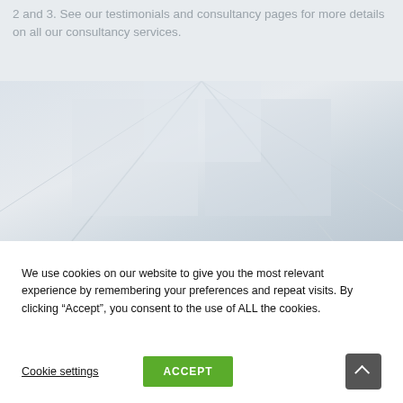2 and 3. See our testimonials and consultancy pages for more details on all our consultancy services.
[Figure (photo): Background photo showing a light-toned architectural interior with geometric lines and panels, with a dark rectangular bar overlay at the bottom]
We use cookies on our website to give you the most relevant experience by remembering your preferences and repeat visits. By clicking “Accept”, you consent to the use of ALL the cookies.
Cookie settings
ACCEPT